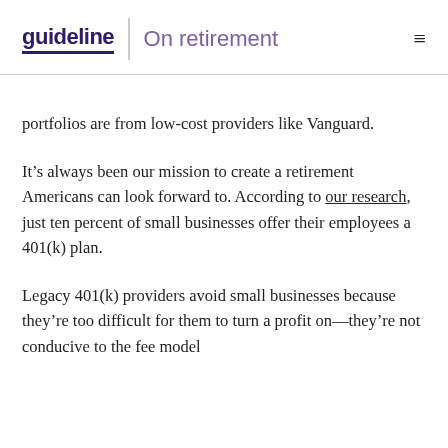guideline | On retirement
portfolios are from low-cost providers like Vanguard.
It’s always been our mission to create a retirement Americans can look forward to. According to our research, just ten percent of small businesses offer their employees a 401(k) plan.
Legacy 401(k) providers avoid small businesses because they’re too difficult for them to turn a profit on—they’re not conducive to the fee model